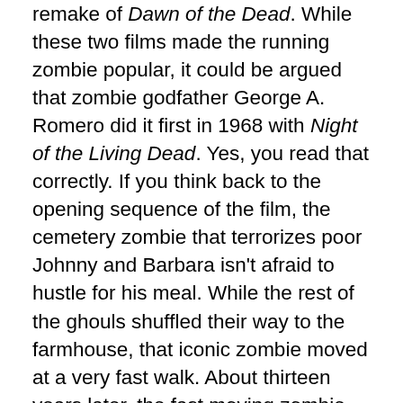remake of Dawn of the Dead. While these two films made the running zombie popular, it could be argued that zombie godfather George A. Romero did it first in 1968 with Night of the Living Dead. Yes, you read that correctly. If you think back to the opening sequence of the film, the cemetery zombie that terrorizes poor Johnny and Barbara isn't afraid to hustle for his meal. While the rest of the ghouls shuffled their way to the farmhouse, that iconic zombie moved at a very fast walk. About thirteen years later, the fast moving zombie appeared once again in the Italian made Nightmare City, another one of the European knock-offs of Romero's 1978 masterpiece Dawn of the Dead. Much like Boyle's 28 Days Later, Nightmare City doesn't actually contain cannibalistic undead. No, these maniacal terrors are suffering from radiation poisoning and they are not simply craving a hearty meal of entrails. They would rather the ones to be fried, fried, fried.